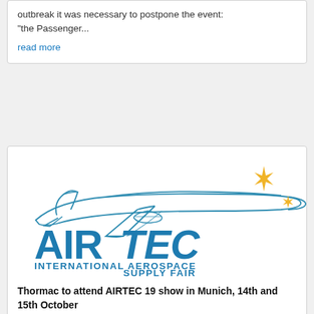outbreak it was necessary to postpone the event: "the Passenger...
read more
[Figure (logo): AIRTEC International Aerospace Supply Fair logo — blue outline of a passenger airplane above large blue text 'AIRTEC' with gold star/sparkle design to the right, and below 'INTERNATIONAL AEROSPACE SUPPLY FAIR' in blue capitals]
Thormac to attend AIRTEC 19 show in Munich, 14th and 15th October
Aug 15, 2019
Thormac, one of Ireland's leading contract plastic injection moulding companies will be exhibiting at the